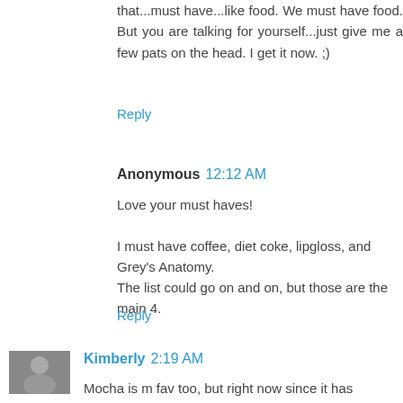that...must have...like food. We must have food. But you are talking for yourself...just give me a few pats on the head. I get it now. ;)
Reply
Anonymous  12:12 AM
Love your must haves!
I must have coffee, diet coke, lipgloss, and Grey's Anatomy.
The list could go on and on, but those are the main 4.
Reply
Kimberly  2:19 AM
Mocha is m fav too, but right now since it has chocolate in it I can't have it.
Great post! It was fun reading it.
Reply